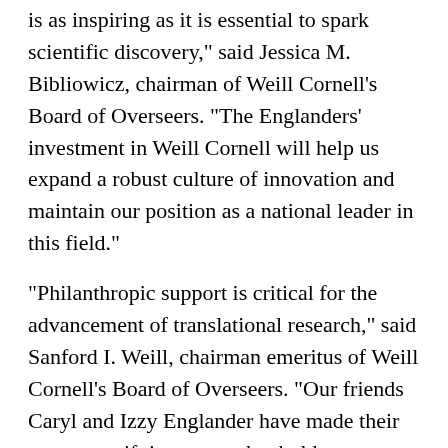is as inspiring as it is essential to spark scientific discovery," said Jessica M. Bibliowicz, chairman of Weill Cornell's Board of Overseers. "The Englanders' investment in Weill Cornell will help us expand a robust culture of innovation and maintain our position as a national leader in this field."
"Philanthropic support is critical for the advancement of translational research," said Sanford I. Weill, chairman emeritus of Weill Cornell's Board of Overseers. "Our friends Caryl and Izzy Englander have made their generous gift in an area that holds enormous promise for patients and in which Weill Cornell excels. Joan and I are incredibly grateful."
Computational biologists at the Englander Institute analyze tumor sequencing data and summarize the key clinical and genetic findings into physician-friendly reports that are seamlessly integrated into Weill Cornell's electronic health